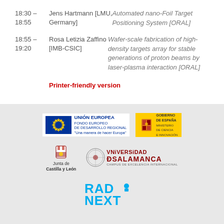18:30 – 18:55   Jens Hartmann [LMU, Germany]   Automated nano-Foil Target Positioning System [ORAL]
18:55 – 19:20   Rosa Letizia Zaffino [IMB-CSIC]   Wafer-scale fabrication of high-density targets array for stable generations of proton beams by laser-plasma interaction [ORAL]
Printer-friendly version
[Figure (logo): Footer section with institutional logos: EU (Unión Europea - Fondo Europeo de Desarrollo Regional), Gobierno de España / Ministerio de Ciencia e Innovación, Junta de Castilla y León, Universidad de Salamanca, and RADNEXT logo]